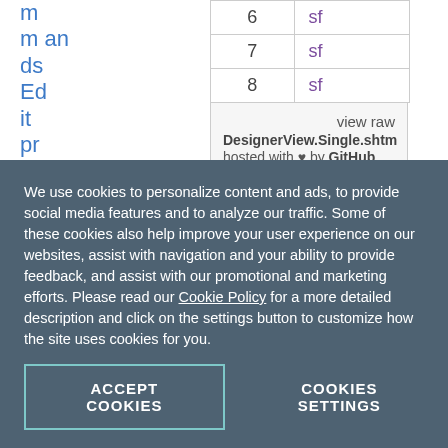m
m an ds
Edit pr op er tie s va lu
|  |  |
| --- | --- |
| 6 | sf |
| 7 | sf |
| 8 | sf |
view raw DesignerView.Single.cshtml hosted with ♥ by GitHub
The values of the attributes are scope properties that you define in the MVC widget
We use cookies to personalize content and ads, to provide social media features and to analyze our traffic. Some of these cookies also help improve your user experience on our websites, assist with navigation and your ability to provide feedback, and assist with our promotional and marketing efforts. Please read our Cookie Policy for a more detailed description and click on the settings button to customize how the site uses cookies for you.
ACCEPT COOKIES
COOKIES SETTINGS